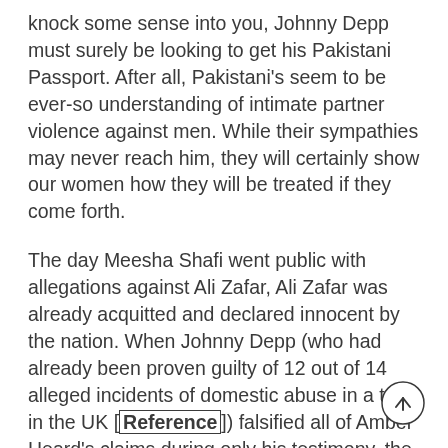knock some sense into you, Johnny Depp must surely be looking to get his Pakistani Passport. After all, Pakistani's seem to be ever-so understanding of intimate partner violence against men. While their sympathies may never reach him, they will certainly show our women how they will be treated if they come forth.
The day Meesha Shafi went public with allegations against Ali Zafar, Ali Zafar was already acquitted and declared innocent by the nation. When Johnny Depp (who had already been proven guilty of 12 out of 14 alleged incidents of domestic abuse in a trial in the UK [Reference]) falsified all of Amber Heard's claims during only his testimony, the entire nation had already declared her guilty.